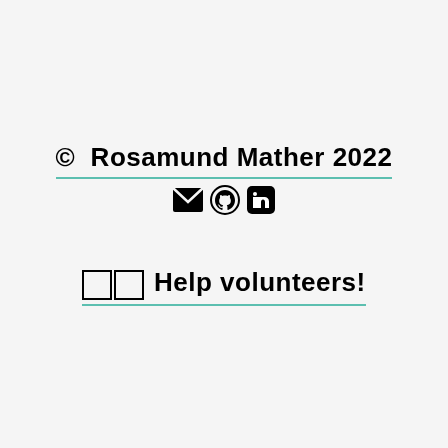© Rosamund Mather 2022
[Figure (other): Three social/contact icons: envelope (email), GitHub octocat, LinkedIn logo]
🀱🀱 Help volunteers!